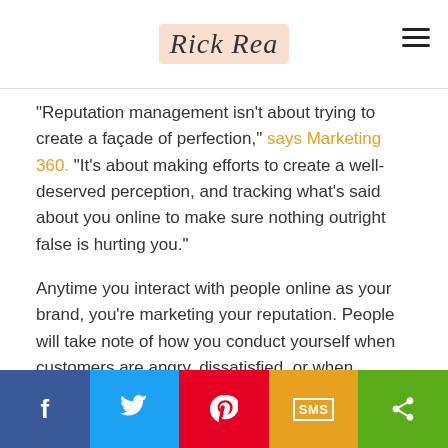Rick Rea
“Reputation management isn’t about trying to create a façade of perfection,” says Marketing 360. “It’s about making efforts to create a well-deserved perception, and tracking what’s said about you online to make sure nothing outright false is hurting you.”
Anytime you interact with people online as your brand, you’re marketing your reputation. People will take note of how you conduct yourself when customers are angry, dissatisfied, or when something unexpected happens. How you handle the situation matters most.
4. Understanding your target market
Facebook | Twitter | Pinterest | SMS | Share